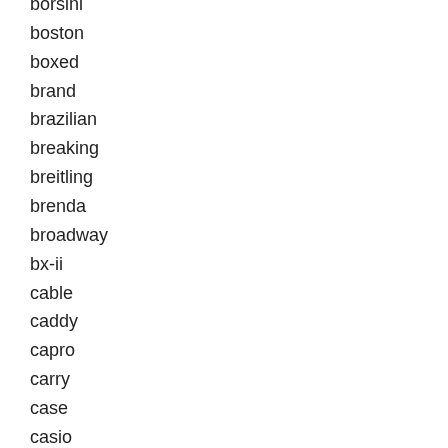borsini
boston
boxed
brand
brazilian
breaking
breitling
brenda
broadway
bx-ii
cable
caddy
capro
carry
case
casio
castbugarim120
cavendish
challen
chanson
charles